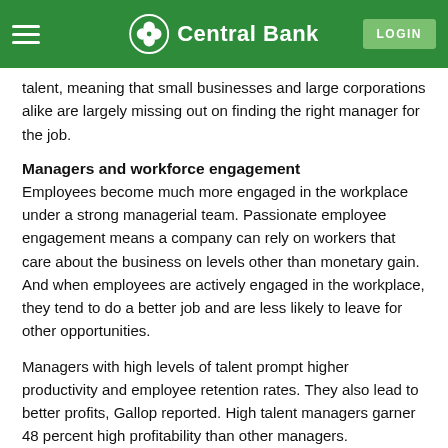Central Bank
...only 1 in 10 or percent of current managers have high talent, meaning that small businesses and large corporations alike are largely missing out on finding the right manager for the job.
Managers and workforce engagement
Employees become much more engaged in the workplace under a strong managerial team. Passionate employee engagement means a company can rely on workers that care about the business on levels other than monetary gain. And when employees are actively engaged in the workplace, they tend to do a better job and are less likely to leave for other opportunities.
Managers with high levels of talent prompt higher productivity and employee retention rates. They also lead to better profits, Gallop reported. High talent managers garner 48 percent high profitability than other managers.